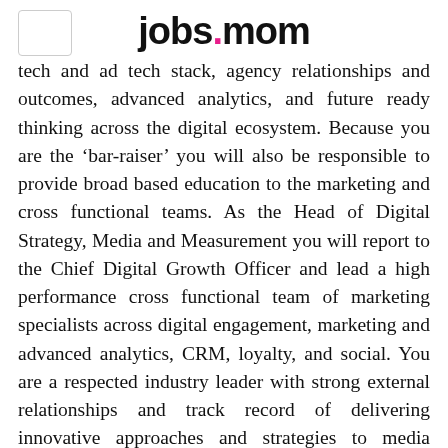jobs.mom
tech and ad tech stack, agency relationships and outcomes, advanced analytics, and future ready thinking across the digital ecosystem. Because you are the ‘bar-raiser’ you will also be responsible to provide broad based education to the marketing and cross functional teams. As the Head of Digital Strategy, Media and Measurement you will report to the Chief Digital Growth Officer and lead a high performance cross functional team of marketing specialists across digital engagement, marketing and advanced analytics, CRM, loyalty, and social. You are a respected industry leader with strong external relationships and track record of delivering innovative approaches and strategies to media planning and investment to maximize ROI and balancing efficiency and effectiveness. We are looking for a high performing team member who is a strategic thinker with the ability